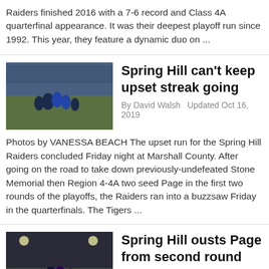Raiders finished 2016 with a 7-6 record and Class 4A quarterfinal appearance. It was their deepest playoff run since 1992. This year, they feature a dynamic duo on ...
[Figure (photo): Football game action photo showing Spring Hill Raiders players]
Spring Hill can't keep upset streak going
By David Walsh  Updated Oct 16, 2019
Photos by VANESSA BEACH The upset run for the Spring Hill Raiders concluded Friday night at Marshall County. After going on the road to take down previously-undefeated Stone Memorial then Region 4-4A two seed Page in the first two rounds of the playoffs, the Raiders ran into a buzzsaw Friday in the quarterfinals. The Tigers ...
[Figure (photo): Night football game photo with camera icon overlay]
Spring Hill ousts Page from second round
By David Walsh  Updated Oct 16, 2019